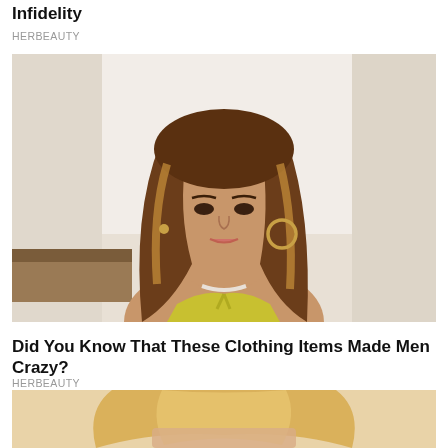Infidelity
HERBEAUTY
[Figure (photo): Young woman with long brown highlighted hair, wearing a yellow bikini top and pearl necklace, gold hoop earrings, looking at camera against a white interior background.]
Did You Know That These Clothing Items Made Men Crazy?
HERBEAUTY
[Figure (photo): Partial view of a blonde woman, cropped at the top of the frame.]